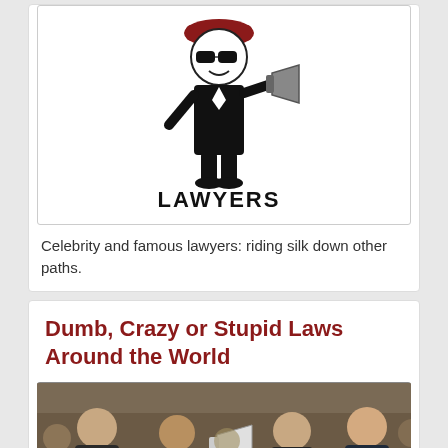[Figure (illustration): Cartoon character dressed as a lawyer in black robe with white collar, wearing sunglasses and a red judge's wig, holding a megaphone, with the word LAWYERS in bold black text beneath]
Celebrity and famous lawyers: riding silk down other paths.
Dumb, Crazy or Stupid Laws Around the World
[Figure (photo): Photo of men in suits at what appears to be a legislative or parliamentary session, one holding a megaphone]